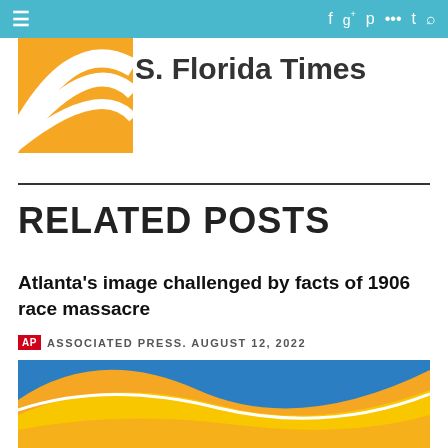S. Florida Times
RELATED POSTS
Atlanta's image challenged by facts of 1906 race massacre
ASSOCIATED PRESS. AUGUST 12, 2022
[Figure (illustration): Colorful wave graphic with orange, yellow, and blue swooping bands on a white background — AP logo placeholder image]